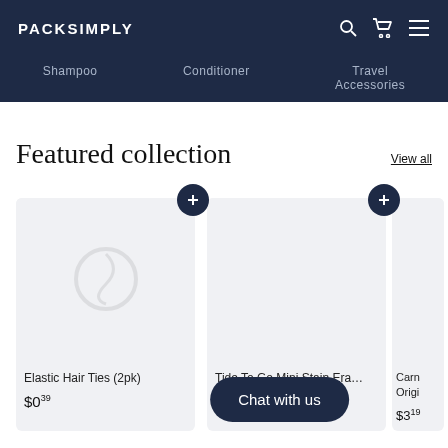PACKSIMPLY
Shampoo  Conditioner  Travel Accessories
Featured collection
View all
[Figure (illustration): Product card: Elastic Hair Ties (2pk) with placeholder hair tie icon, add button, price $0.39]
Elastic Hair Ties (2pk)
$0.39
[Figure (illustration): Product card: Tide To Go Mini Stain Eraser with add button, price $6.99]
Tide To Go Mini Stain Era…
$6.99
[Figure (illustration): Partially visible third product card: Carn Origi, price $3.19]
Chat with us